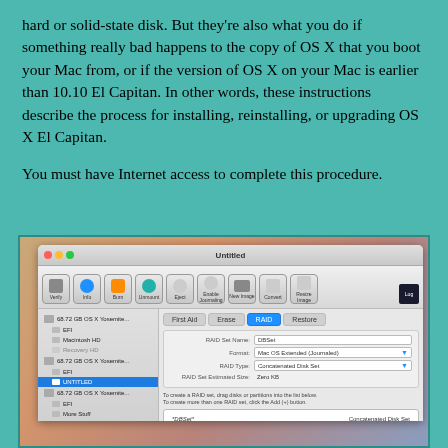hard or solid-state disk. But they're also what you do if something really bad happens to the copy of OS X that you boot your Mac from, or if the version of OS X on your Mac is earlier than 10.10 El Capitan. In other words, these instructions describe the process for installing, reinstalling, or upgrading OS X El Capitan.
You must have Internet access to complete this procedure.
[Figure (screenshot): Screenshot of Mac OS X Disk Utility application showing a RAID configuration panel with sidebar listing multiple 68.72 GB OS X Yosemite volumes and a RAID tab selected in the main area showing RAID Set Name: DBSet, Format: Mac OS Extended (Journaled), RAID Type: Concatenated Disk Set, and a RAID list showing *DBSet* with Concatenated Disk Set label.]